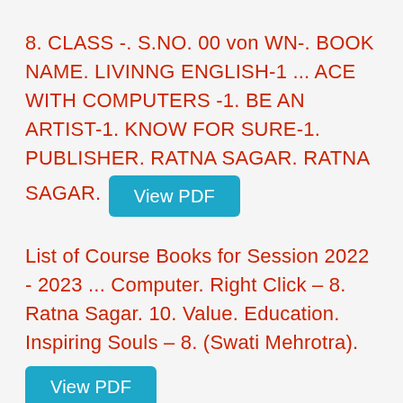8. CLASS -. S.NO. 00 von WN-. BOOK NAME. LIVINNG ENGLISH-1 ... ACE WITH COMPUTERS -1. BE AN ARTIST-1. KNOW FOR SURE-1. PUBLISHER. RATNA SAGAR. RATNA SAGAR. [View PDF button]
List of Course Books for Session 2022 - 2023 ... Computer. Right Click – 8. Ratna Sagar. 10. Value. Education. Inspiring Souls – 8. (Swati Mehrotra). [View PDF button]